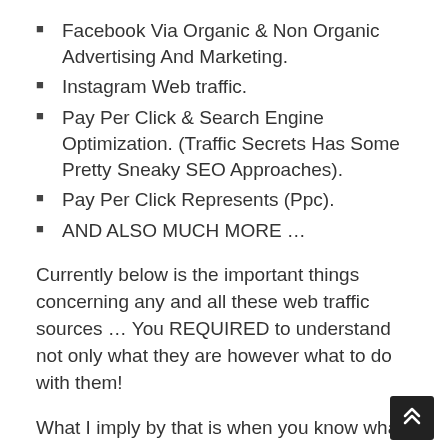Facebook Via Organic & Non Organic Advertising And Marketing.
Instagram Web traffic.
Pay Per Click & Search Engine Optimization. (Traffic Secrets Has Some Pretty Sneaky SEO Approaches).
Pay Per Click Represents (Ppc).
AND ALSO MUCH MORE …
Currently below is the important things concerning any and all these web traffic sources … You REQUIRED to understand not only what they are however what to do with them!
What I imply by that is when you know what platforms you intend to advertise on you need to recognize exactly what type of funnel or internet s or what sort of lead capture or sales web page to